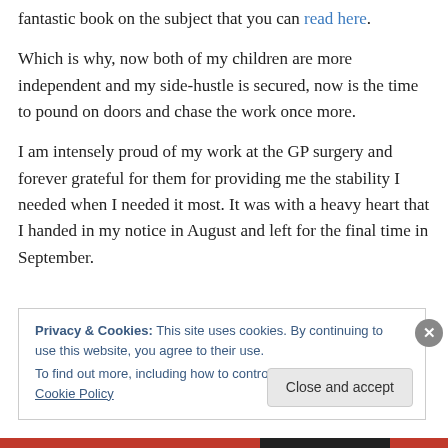fantastic book on the subject that you can read here.
Which is why, now both of my children are more independent and my side-hustle is secured, now is the time to pound on doors and chase the work once more.
I am intensely proud of my work at the GP surgery and forever grateful for them for providing me the stability I needed when I needed it most. It was with a heavy heart that I handed in my notice in August and left for the final time in September.
Privacy & Cookies: This site uses cookies. By continuing to use this website, you agree to their use. To find out more, including how to control cookies, see here: Cookie Policy
Close and accept